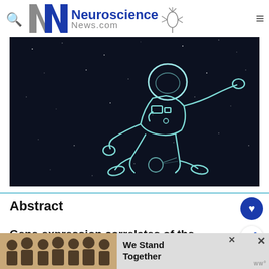Neuroscience News.com
[Figure (illustration): Line-art illustration of an astronaut floating in outer space on a dark background, with a planet visible in the lower portion of the image.]
Abstract
Gene-expression correlates of the oscillatory si...
[Figure (photo): Advertisement banner showing a group of people with arms around each other with text 'We Stand Together']